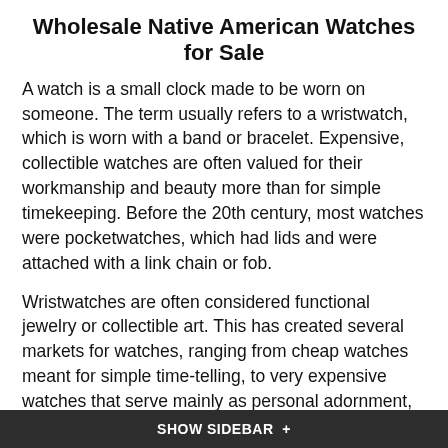Wholesale Native American Watches for Sale
A watch is a small clock made to be worn on someone. The term usually refers to a wristwatch, which is worn with a band or bracelet. Expensive, collectible watches are often valued for their workmanship and beauty more than for simple timekeeping. Before the 20th century, most watches were pocketwatches, which had lids and were attached with a link chain or fob.
Wristwatches are often considered functional jewelry or collectible art. This has created several markets for watches, ranging from cheap watches meant for simple time-telling, to very expensive watches that serve mainly as personal adornment, including authentic turquoise Native American Watches.
Most companies that produce watches specialize in one of several markets. Companies such as ours specialize in watches as jewelry.
SHOW SIDEBAR +
With our Wholesale watches, we provide our customers